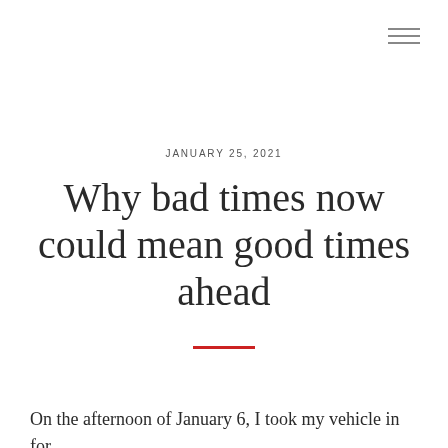≡
JANUARY 25, 2021
Why bad times now could mean good times ahead
On the afternoon of January 6, I took my vehicle in for